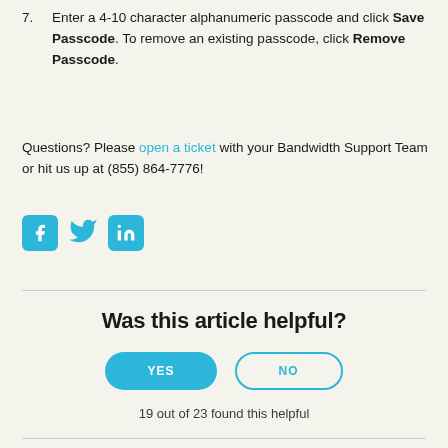7. Enter a 4-10 character alphanumeric passcode and click Save Passcode. To remove an existing passcode, click Remove Passcode.
Questions? Please open a ticket with your Bandwidth Support Team or hit us up at (855) 864-7776!
[Figure (illustration): Three social media icons: Facebook (blue square with 'f'), Twitter (cyan bird), LinkedIn (blue square with 'in')]
Was this article helpful?
YES NO
19 out of 23 found this helpful